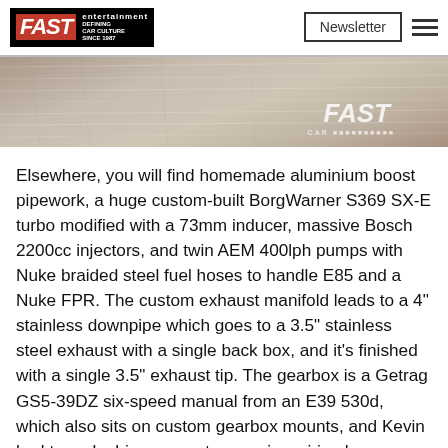FAST entertainment — Defining Car Culture Since 1987 | Newsletter
[Figure (illustration): Brushed metal / carbon fibre textured banner image with FAST Car logo watermark in bottom right corner]
Elsewhere, you will find homemade aluminium boost pipework, a huge custom-built BorgWarner S369 SX-E turbo modified with a 73mm inducer, massive Bosch 2200cc injectors, and twin AEM 400lph pumps with Nuke braided steel fuel hoses to handle E85 and a Nuke FPR. The custom exhaust manifold leads to a 4" stainless downpipe which goes to a 3.5" stainless steel exhaust with a single back box, and it's finished with a single 3.5" exhaust tip. The gearbox is a Getrag GS5-39DZ six-speed manual from an E39 530d, which also sits on custom gearbox mounts, and Kevin had to make his own custom engine wiring harness, with a VEMS E[redacted] work has gon[redacted] ause